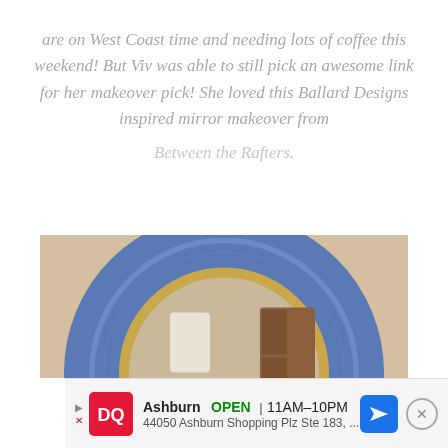are on West Coast time and needing lots of coffee this weekend! But Viv was able to still pick an awesome link for her makeover pick! She loved this Ballard Designs inspired mirror makeover from Between the Rafters.
[Figure (photo): Photo of a round mirror with a wide blue woven/textured frame and a gold inner ring, mounted on a beige/tan wall. The mirror reflects a wooden cabinet and part of a white item.]
Ashburn OPEN | 11AM–10PM 44050 Ashburn Shopping Plz Ste 183, ...